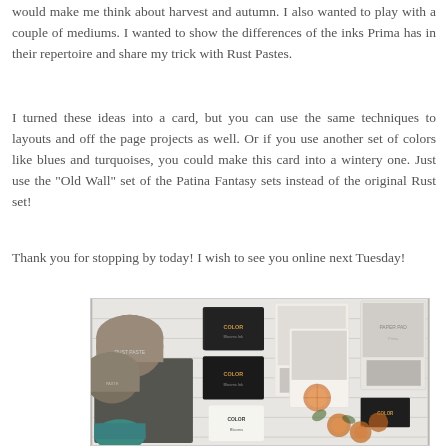would make me think about harvest and autumn. I also wanted to play with a couple of mediums. I wanted to show the differences of the inks Prima has in their repertoire and share my trick with Rust Pastes.
I turned these ideas into a card, but you can use the same techniques to layouts and off the page projects as well. Or if you use another set of colors like blues and turquoises, you could make this card into a wintery one. Just use the "Old Wall" set of the Patina Fantasy sets instead of the original Rust set!
Thank you for stopping by today! I wish to see you online next Tuesday!
[Figure (photo): Flat lay photograph of Prima art supplies including Color Blooms ink sets, Rust Paste jars, a dark textured panel, and decorative cards with dried orange slices and floral embellishments arranged on a white slatted surface.]